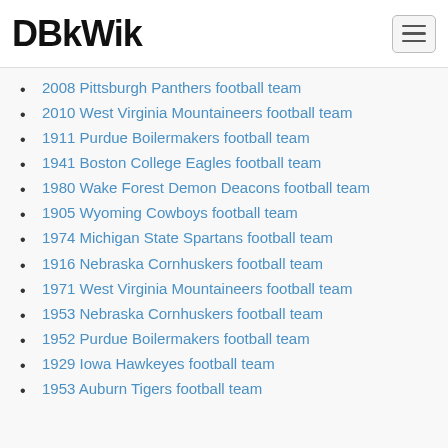DBkWik
2008 Pittsburgh Panthers football team
2010 West Virginia Mountaineers football team
1911 Purdue Boilermakers football team
1941 Boston College Eagles football team
1980 Wake Forest Demon Deacons football team
1905 Wyoming Cowboys football team
1974 Michigan State Spartans football team
1916 Nebraska Cornhuskers football team
1971 West Virginia Mountaineers football team
1953 Nebraska Cornhuskers football team
1952 Purdue Boilermakers football team
1929 Iowa Hawkeyes football team
1953 Auburn Tigers football team